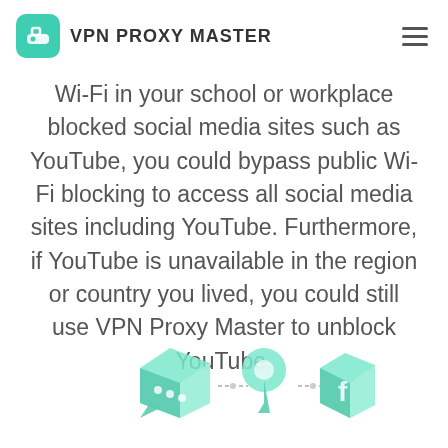VPN PROXY MASTER
Wi-Fi in your school or workplace blocked social media sites such as YouTube, you could bypass public Wi-Fi blocking to access all social media sites including YouTube. Furthermore, if YouTube is unavailable in the region or country you lived, you could still use VPN Proxy Master to unblock YouTube.
[Figure (illustration): Isometric illustration showing chat bubble, location pin, and social media icons in mint/teal color at the bottom of the page]